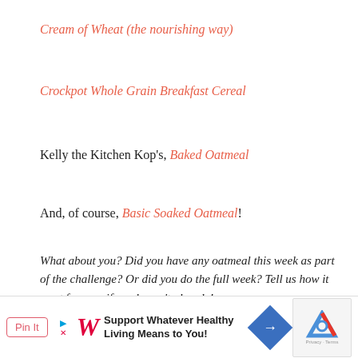Cream of Wheat (the nourishing way)
Crockpot Whole Grain Breakfast Cereal
Kelly the Kitchen Kop's, Baked Oatmeal
And, of course, Basic Soaked Oatmeal!
What about you? Did you have any oatmeal this week as part of the challenge? Or did you do the full week? Tell us how it went for you, if you haven't already!
[Figure (other): Advertisement bar with PinIt button and Walgreens ad saying Support Whatever Healthy Living Means to You!, with reCAPTCHA widget in bottom right corner]